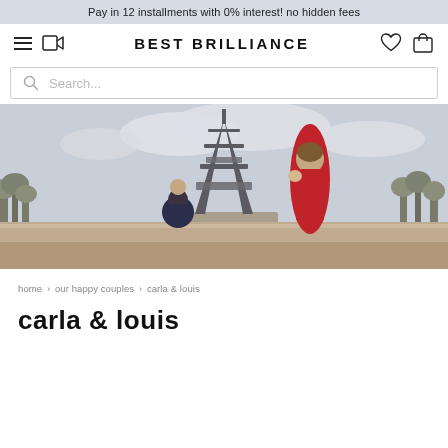Pay in 12 installments with 0% interest! no hidden fees
BEST BRILLIANCE
[Figure (screenshot): Search bar with magnifying glass icon and placeholder text 'Search...']
[Figure (photo): A man proposing on one knee to a woman in a red dress in front of the Eiffel Tower in Paris]
home › our happy couples › carla & louis
carla & louis